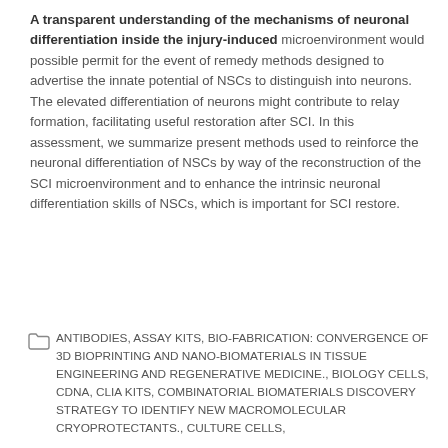A transparent understanding of the mechanisms of neuronal differentiation inside the injury-induced microenvironment would possible permit for the event of remedy methods designed to advertise the innate potential of NSCs to distinguish into neurons. The elevated differentiation of neurons might contribute to relay formation, facilitating useful restoration after SCI. In this assessment, we summarize present methods used to reinforce the neuronal differentiation of NSCs by way of the reconstruction of the SCI microenvironment and to enhance the intrinsic neuronal differentiation skills of NSCs, which is important for SCI restore.
ANTIBODIES, ASSAY KITS, BIO-FABRICATION: CONVERGENCE OF 3D BIOPRINTING AND NANO-BIOMATERIALS IN TISSUE ENGINEERING AND REGENERATIVE MEDICINE., BIOLOGY CELLS, CDNA, CLIA KITS, COMBINATORIAL BIOMATERIALS DISCOVERY STRATEGY TO IDENTIFY NEW MACROMOLECULAR CRYOPROTECTANTS., CULTURE CELLS,